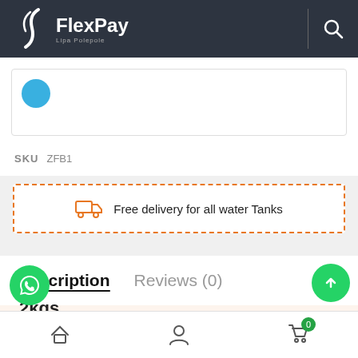FlexPay
SKU  ZFB1
Free delivery for all water Tanks
Description
Reviews (0)
2kgs